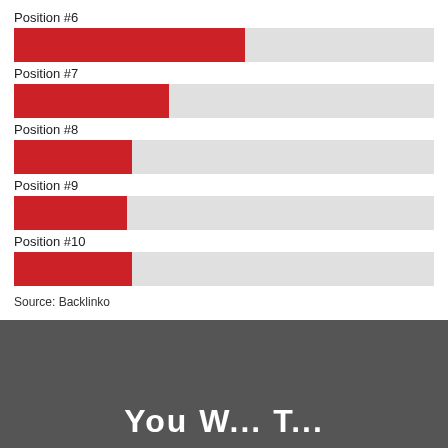[Figure (bar-chart): Click-through rate by position]
Source: Backlinko